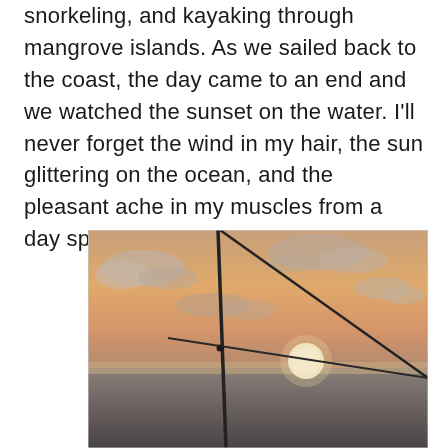snorkeling, and kayaking through mangrove islands. As we sailed back to the coast, the day came to an end and we watched the sunset on the water. I'll never forget the wind in my hair, the sun glittering on the ocean, and the pleasant ache in my muscles from a day spent outdoors.
[Figure (photo): Photograph of a sunset over the ocean taken from a sailboat. A mast and rigging are visible in the foreground as dark diagonal lines. The sun is partially dipping below the horizon, glowing white-gold. The sky is orange-pink with scattered clouds. The ocean is dark and textured in the lower portion.]